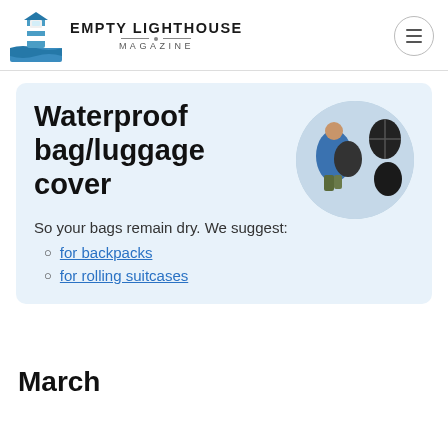EMPTY LIGHTHOUSE MAGAZINE
Waterproof bag/luggage cover
[Figure (photo): Person with a waterproof backpack cover, and two separate black bag cover products shown in a circular cropped image]
So your bags remain dry. We suggest:
for backpacks
for rolling suitcases
March